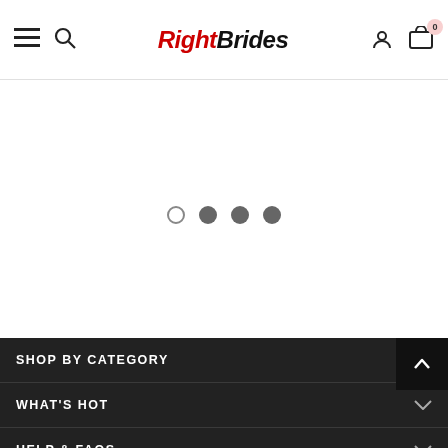RightBrides — navigation header with hamburger, search, logo, user icon, cart (0)
$129.00
[Figure (other): Carousel dot indicators: 4 dots, first is outline, others filled grey]
SHOP BY CATEGORY
WHAT'S HOT
HELP & FAQS
INFORMATION
STAY CONNECTED